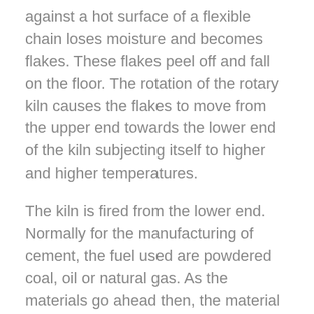against a hot surface of a flexible chain loses moisture and becomes flakes. These flakes peel off and fall on the floor. The rotation of the rotary kiln causes the flakes to move from the upper end towards the lower end of the kiln subjecting itself to higher and higher temperatures.
The kiln is fired from the lower end. Normally for the manufacturing of cement, the fuel used are powdered coal, oil or natural gas. As the materials go ahead then, the material rolls down to the lower end of the rotary kiln, the dry material undergoes a series of chemical reactions until finally, in the hottest part of the kiln, where the temperature is in the order of 1500°C, about 20 to 30 percent of the materials get fused. Lime, silica, and alumina get recombined. This is where the oxides in raw materials will be combined to form compounds in